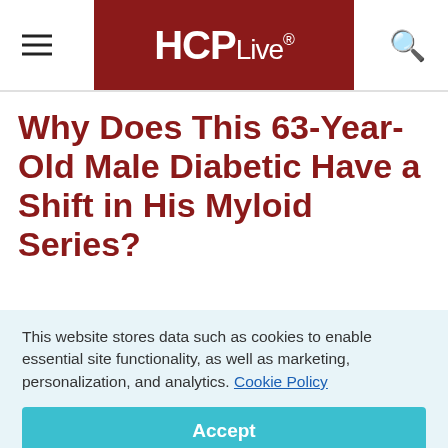HCPLive®
Why Does This 63-Year-Old Male Diabetic Have a Shift in His Myloid Series?
August 5, 2015
This website stores data such as cookies to enable essential site functionality, as well as marketing, personalization, and analytics. Cookie Policy
Accept
Deny